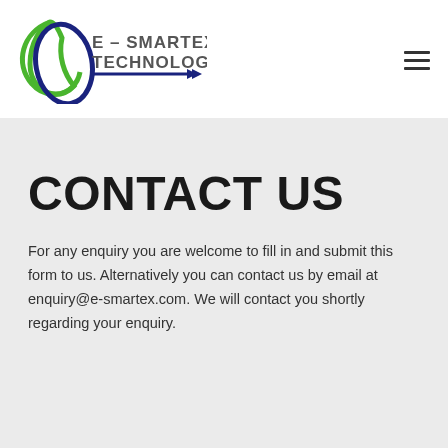[Figure (logo): E-Smartex Technology logo with green and blue circular design and text 'E - SMARTEX TECHNOLOGY' with blue underline]
[Figure (other): Hamburger menu icon (three horizontal bars)]
CONTACT US
For any enquiry you are welcome to fill in and submit this form to us. Alternatively you can contact us by email at enquiry@e-smartex.com. We will contact you shortly regarding your enquiry.